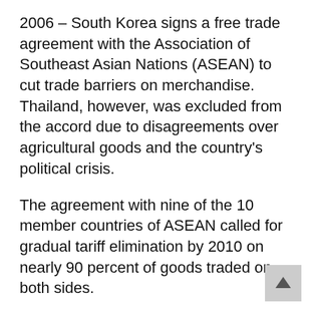2006 – South Korea signs a free trade agreement with the Association of Southeast Asian Nations (ASEAN) to cut trade barriers on merchandise. Thailand, however, was excluded from the accord due to disagreements over agricultural goods and the country's political crisis.
The agreement with nine of the 10 member countries of ASEAN called for gradual tariff elimination by 2010 on nearly 90 percent of goods traded on both sides.
2007 – Two South Korean fishing boats and their 24 crew members, including four South Koreans, are captured by a group of insurgents believed to be Somali pirates in waters off Somalia. They were freed in November.